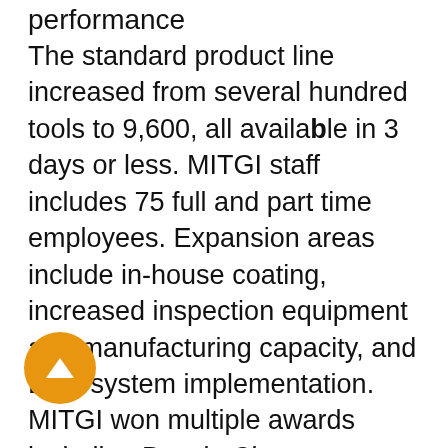performance
The standard product line increased from several hundred tools to 9,600, all available in 3 days or less. MITGI staff includes 75 full and part time employees. Expansion areas include in-house coating, increased inspection equipment and manufacturing capacity, and ERP system implementation. MITGI won multiple awards including Best in Class, Silver/Manufacturing Awards, Minnesota Business (2014), 100 Best Companies to work for/Minnesota Business (2015), Top 150 Workplaces/Star Tribune (2015, 2016), Image Award/Manufacturing